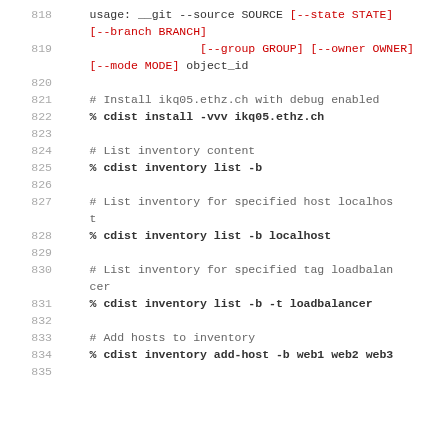818   usage: __git --source SOURCE [--state STATE] [--branch BRANCH]
819                         [--group GROUP] [--owner OWNER] [--mode MODE] object_id
820
821       # Install ikq05.ethz.ch with debug enabled
822       % cdist install -vvv ikq05.ethz.ch
823
824       # List inventory content
825       % cdist inventory list -b
826
827       # List inventory for specified host localhost
828       % cdist inventory list -b localhost
829
830       # List inventory for specified tag loadbalancer
831       % cdist inventory list -b -t loadbalancer
832
833       # Add hosts to inventory
834       % cdist inventory add-host -b web1 web2 web3
835